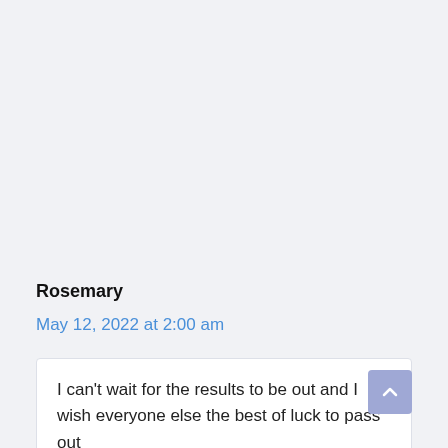Rosemary
May 12, 2022 at 2:00 am
I can’t wait for the results to be out and I wish everyone else the best of luck to pass out